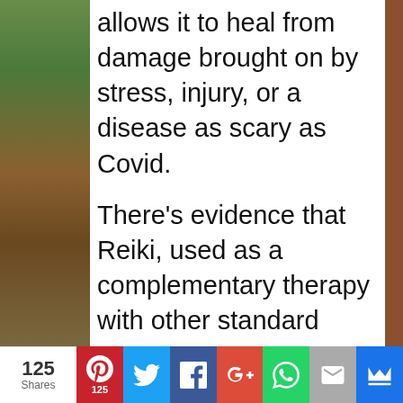allows it to heal from damage brought on by stress, injury, or a disease as scary as Covid.
There's evidence that Reiki, used as a complementary therapy with other standard medical techniques, can help people recover after surgery and manage symptoms of cancer and AIDS.
So, I have come up with a series of yoga videos on this topic- Yoga And Energy Healing For Post Covid or any other illness recovery..
125 Shares | Social share bar: Pinterest 125, Twitter, Facebook, Google+, WhatsApp, Email, Other